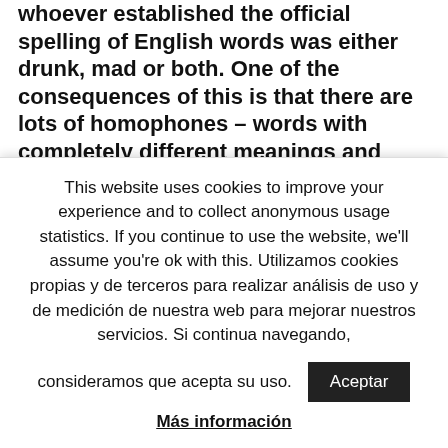whoever established the official spelling of English words was either drunk, mad or both. One of the consequences of this is that there are lots of homophones – words with completely different meanings and spellings that sound exactly the same.
Foreigners are often convinced these words are pronounced differently. If you tell them
This website uses cookies to improve your experience and to collect anonymous usage statistics. If you continue to use the website, we'll assume you're ok with this. Utilizamos cookies propias y de terceros para realizar análisis de uso y de medición de nuestra web para mejorar nuestros servicios. Si continua navegando, consideramos que acepta su uso.
Aceptar
Más información